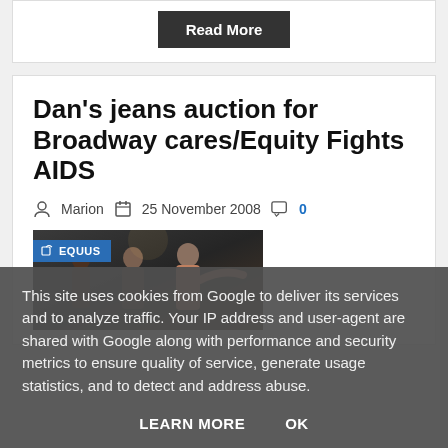Read More
Dan's jeans auction for Broadway cares/Equity Fights AIDS
Marion   25 November 2008   0
[Figure (photo): Photo of people on stage with an EQUUS category tag overlay]
This site uses cookies from Google to deliver its services and to analyze traffic. Your IP address and user-agent are shared with Google along with performance and security metrics to ensure quality of service, generate usage statistics, and to detect and address abuse.
LEARN MORE   OK